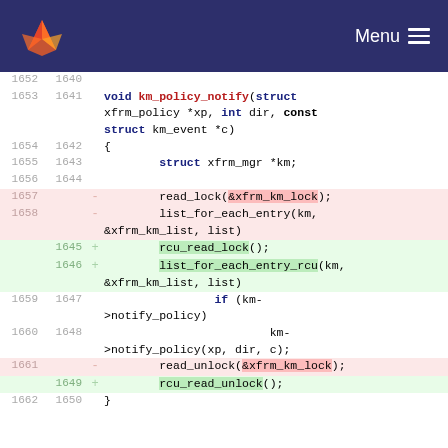Menu
[Figure (screenshot): GitLab code diff view showing changes to km_policy_notify function replacing read_lock/read_unlock with rcu_read_lock/rcu_read_unlock and list_for_each_entry with list_for_each_entry_rcu]